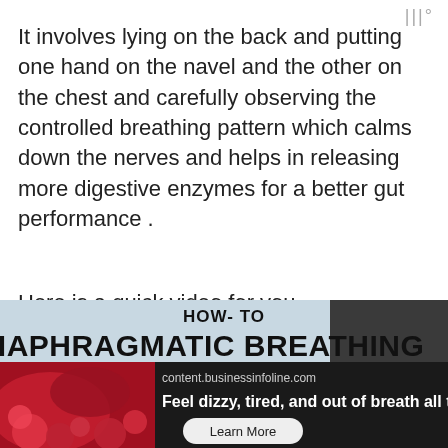|||°
It involves lying on the back and putting one hand on the navel and the other on the chest and carefully observing the controlled breathing pattern which calms down the nerves and helps in releasing more digestive enzymes for a better gut performance .
Here is a quick video for you -
[Figure (screenshot): Video thumbnail showing 'HOW-TO DIAPHRAGMATIC BREATHING' text on a light blue-grey background with a dark figure on the right side]
[Figure (infographic): Advertisement bar with dark background showing 'content.businessinfoline.com', text 'Feel dizzy, tired, and out of breath all the', a 'Learn More' button, and a red blood vessel image on the left]